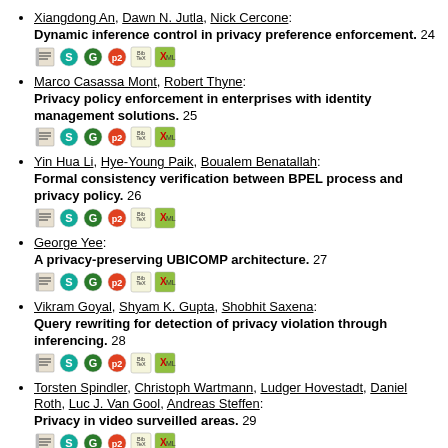Xiangdong An, Dawn N. Jutla, Nick Cercone: Dynamic inference control in privacy preference enforcement. 24
Marco Casassa Mont, Robert Thyne: Privacy policy enforcement in enterprises with identity management solutions. 25
Yin Hua Li, Hye-Young Paik, Boualem Benatallah: Formal consistency verification between BPEL process and privacy policy. 26
George Yee: A privacy-preserving UBICOMP architecture. 27
Vikram Goyal, Shyam K. Gupta, Shobhit Saxena: Query rewriting for detection of privacy violation through inferencing. 28
Torsten Spindler, Christoph Wartmann, Ludger Hovestadt, Daniel Roth, Luc J. Van Gool, Andreas Steffen: Privacy in video surveilled areas. 29